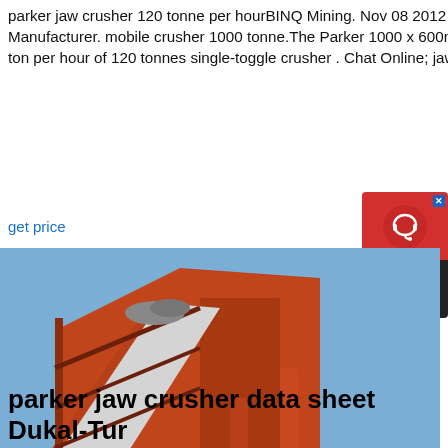parker jaw crusher 120 tonne per hourBINQ Mining. Nov 08 2012 mobile crusher 1000 tonne « Professional Crusher Manufacturer. mobile crusher 1000 tonne.The Parker 1000 x 600mm Primary Jaw Crusher part mobile jaw crusher 50 ton per hour of 120 tonnes single-toggle crusher . Chat Online; jaw crusher 120 tons per hour jaw pulverizer 120 tons
get price
[Figure (photo): Industrial jaw crusher / conveyor equipment photograph showing large orange metal mining machinery with conveyor belts against a blue sky background.]
[Figure (other): Chat Now widget: red circle with headset icon on top, dark background with 'Chat Now' text below, with blue X close button.]
parker jaw crusher data sheet Dukal-Tur